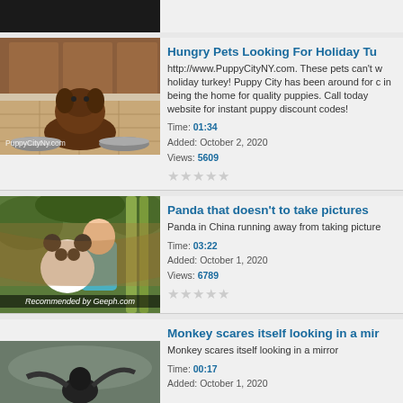[Figure (screenshot): Top partial video thumbnail, dark/black image]
[Figure (photo): Large dog standing at kitchen counter with food bowls, watermark PuppyCityNY.com]
Hungry Pets Looking For Holiday Tu
http://www.PuppyCityNY.com. These pets can't w holiday turkey! Puppy City has been around for c in being the home for quality puppies. Call today website for instant puppy discount codes!
Time: 01:34
Added: October 2, 2020
Views: 5609
[Figure (photo): Panda with person, Recommended by Geeph.com overlay]
Panda that doesn't to take pictures
Panda in China running away from taking picture
Time: 03:22
Added: October 1, 2020
Views: 6789
[Figure (photo): Bird/monkey video thumbnail, dark scene]
Monkey scares itself looking in a mir
Monkey scares itself looking in a mirror
Time: 00:17
Added: October 1, 2020